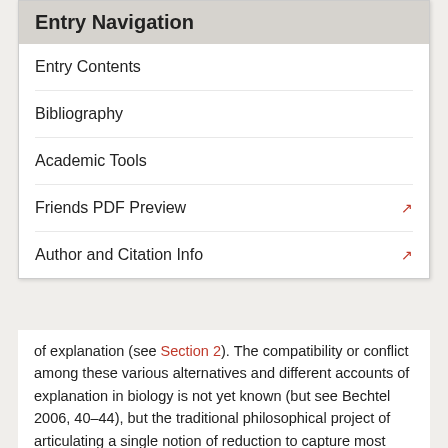Entry Navigation
Entry Contents
Bibliography
Academic Tools
Friends PDF Preview
Author and Citation Info
of explanation (see Section 2). The compatibility or conflict among these various alternatives and different accounts of explanation in biology is not yet known (but see Bechtel 2006, 40–44), but the traditional philosophical project of articulating a single notion of reduction to capture most essential aspects of theory structure and explanation across biology is unlikely to succeed.
6. Future Prospects